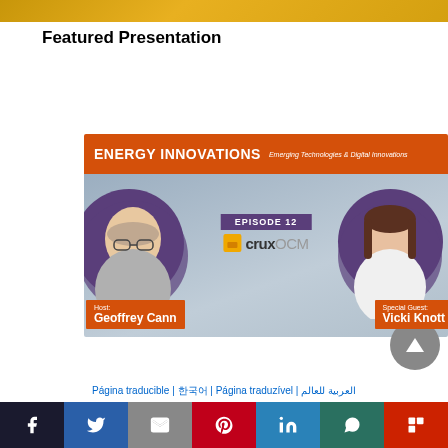[Figure (photo): Top golden/amber banner strip partial image]
Featured Presentation
[Figure (photo): Energy Innovations Episode 12 video thumbnail featuring Host Geoffrey Cann and Special Guest Vicki Knott with cruxOCM logo]
Página traducible | 한국어 | Página traduzível | العربية للعالم
[Figure (infographic): Social share bar with Facebook, Twitter, Email, Pinterest, LinkedIn, WhatsApp, Flipboard buttons]